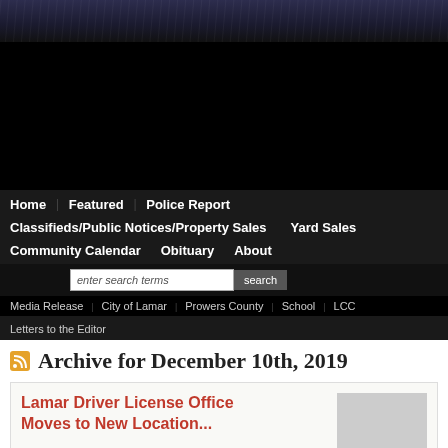[Figure (photo): Dark textured header banner with wood-grain pattern in dark blue/navy]
[Figure (photo): Black advertisement rectangle]
Home | Featured | Police Report | Classifieds/Public Notices/Property Sales | Yard Sales | Community Calendar | Obituary | About
enter search terms  search
Media Release  City of Lamar  Prowers County  School  LCC  Letters to the Editor
Archive for December 10th, 2019
Lamar Driver License Office Moves to New Location...